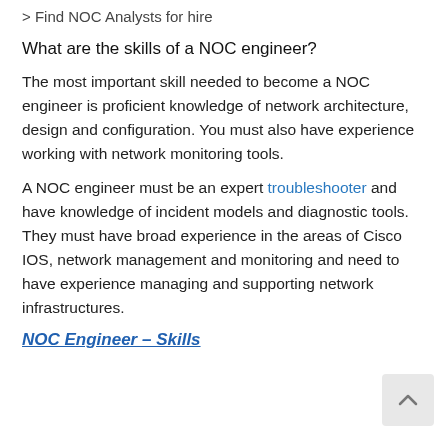> Find NOC Analysts for hire
What are the skills of a NOC engineer?
The most important skill needed to become a NOC engineer is proficient knowledge of network architecture, design and configuration. You must also have experience working with network monitoring tools.
A NOC engineer must be an expert troubleshooter and have knowledge of incident models and diagnostic tools. They must have broad experience in the areas of Cisco IOS, network management and monitoring and need to have experience managing and supporting network infrastructures.
NOC Engineer – Skills